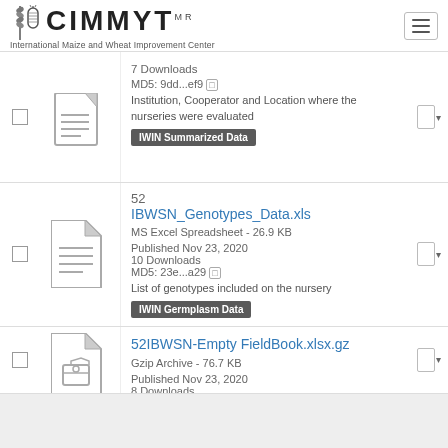CIMMYT — International Maize and Wheat Improvement Center
7 Downloads
MD5: 9dd...ef9
Institution, Cooperator and Location where the nurseries were evaluated
IWIN Summarized Data
52 IBWSN_Genotypes_Data.xls
MS Excel Spreadsheet - 26.9 KB
Published Nov 23, 2020
10 Downloads
MD5: 23e...a29
List of genotypes included on the nursery
IWIN Germplasm Data
52IBWSN-Empty FieldBook.xlsx.gz
Gzip Archive - 76.7 KB
Published Nov 23, 2020
8 Downloads